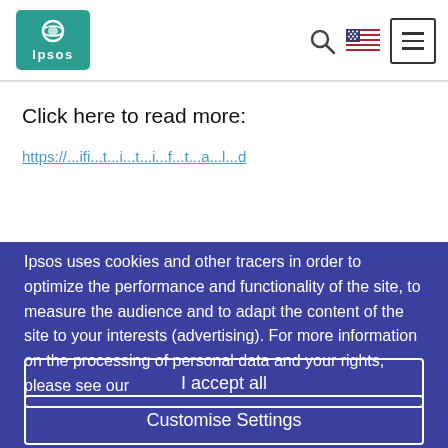[Figure (logo): Ipsos logo - teal/green rounded rectangle with a circular icon and 'Ipsos' text in white]
Click here to read more:
https://...ifi...t...i...t...i...f...t...a...l...d
Ipsos uses cookies and other tracers in order to optimize the performance and functionality of the site, to measure the audience and to adapt the content of the site to your interests (advertising). For more information on the processing of personal data and your rights, please see our
I accept all
Customise Settings